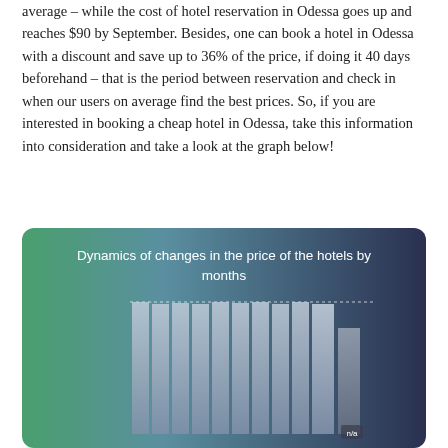average – while the cost of hotel reservation in Odessa goes up and reaches $90 by September. Besides, one can book a hotel in Odessa with a discount and save up to 36% of the price, if doing it 40 days beforehand – that is the period between reservation and check in when our users on average find the best prices. So, if you are interested in booking a cheap hotel in Odessa, take this information into consideration and take a look at the graph below!
[Figure (bar-chart): Bar chart showing hotel price dynamics by month with gradient dark background. Bars are light grey/silver colored showing monthly prices. One bar on the right is labeled n/a.]